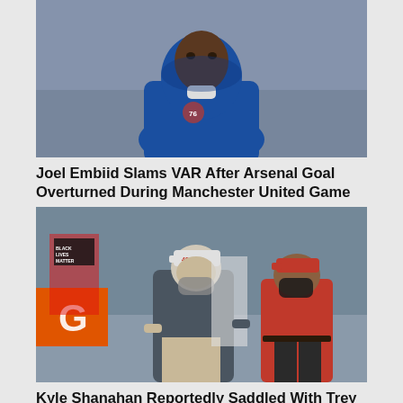[Figure (photo): Joel Embiid wearing a Philadelphia 76ers blue hoodie, looking upward, standing on a basketball court]
Joel Embiid Slams VAR After Arsenal Goal Overturned During Manchester United Game
[Figure (photo): Kyle Shanahan wearing a San Francisco 49ers cap and neck gaiter, walking on a football sideline with another 49ers staff member in red wearing a mask]
Kyle Shanahan Reportedly Saddled With Trey Lance After Not Getting His Wish With Mac Jones